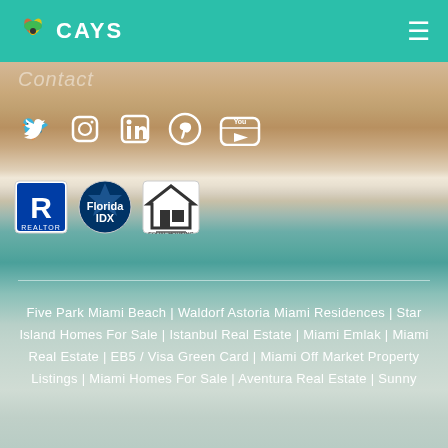CAYS
Contact
[Figure (photo): Aerial beach/ocean background showing sandy shore and turquoise waves]
[Figure (infographic): Social media icons row: Twitter, Instagram, LinkedIn, Pinterest, YouTube]
[Figure (infographic): Badges row: Realtor logo, Florida IDX logo, Equal Housing Opportunity logo]
Five Park Miami Beach | Waldorf Astoria Miami Residences | Star Island Homes For Sale | Istanbul Real Estate | Miami Emlak | Miami Real Estate | EB5 / Visa Green Card | Miami Off Market Property Listings | Miami Homes For Sale | Aventura Real Estate | Sunny